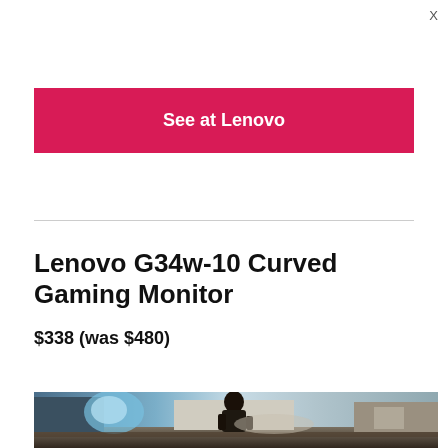X
See at Lenovo
Lenovo G34w-10 Curved Gaming Monitor
$338 (was $480)
[Figure (photo): Action scene showing a person in a dark jacket viewed from behind, with an explosion or impact effect visible in a warehouse-like outdoor setting.]